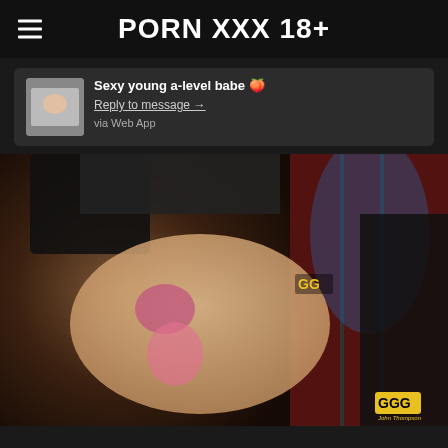PORN XXX 18+
Sexy young a-level babe 🍑
Reply to message →
via Web App
[Figure (photo): Screenshot of an adult video website showing explicit sexual content with a GGG logo watermark in the bottom right corner.]